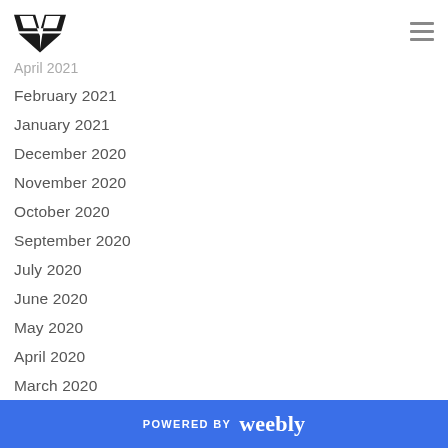[Logo and navigation menu icon]
April 2021
February 2021
January 2021
December 2020
November 2020
October 2020
September 2020
July 2020
June 2020
May 2020
April 2020
March 2020
February 2020
January 2020
POWERED BY weebly